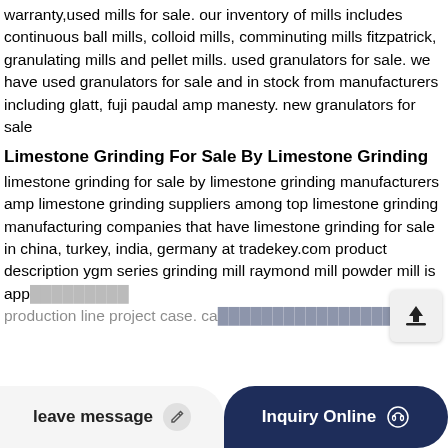warranty,used mills for sale. our inventory of mills includes continuous ball mills, colloid mills, comminuting mills fitzpatrick, granulating mills and pellet mills. used granulators for sale. we have used granulators for sale and in stock from manufacturers including glatt, fuji paudal amp manesty. new granulators for sale
Limestone Grinding For Sale By Limestone Grinding
limestone grinding for sale by limestone grinding manufacturers amp limestone grinding suppliers among top limestone grinding manufacturing companies that have limestone grinding for sale in china, turkey, india, germany at tradekey.com product description ygm series grinding mill raymond mill powder mill is app... production line project case. ca...